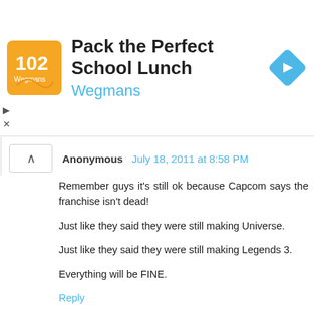[Figure (other): Advertisement banner for 'Pack the Perfect School Lunch' by Wegmans, featuring an orange logo with stylized food imagery and a blue navigation arrow icon]
Anonymous  July 18, 2011 at 8:58 PM
Remember guys it's still ok because Capcom says the franchise isn't dead!

Just like they said they were still making Universe.

Just like they said they were still making Legends 3.

Everything will be FINE.
Reply
cccd-erckie  July 18, 2011 at 8:59 PM
What are they talking about, failing to meet the criteria? They didn't even give the game a fair chance to prove itself with the demo.
And what about all the fans interacting? The...